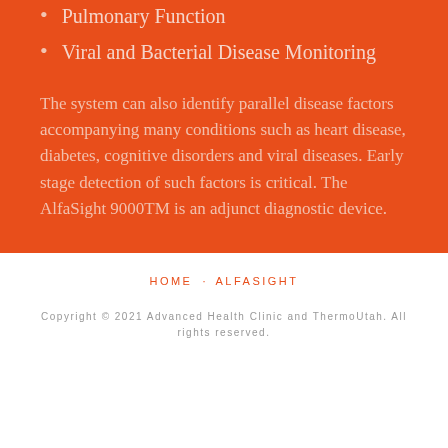Pulmonary Function
Viral and Bacterial Disease Monitoring
The system can also identify parallel disease factors accompanying many conditions such as heart disease, diabetes, cognitive disorders and viral diseases. Early stage detection of such factors is critical. The AlfaSight 9000TM is an adjunct diagnostic device.
HOME   ALFASIGHT
Copyright © 2021 Advanced Health Clinic and ThermoUtah. All rights reserved.